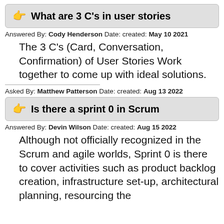👉 What are 3 C's in user stories
Answered By: Cody Henderson Date: created: May 10 2021
The 3 C's (Card, Conversation, Confirmation) of User Stories Work together to come up with ideal solutions.
Asked By: Matthew Patterson Date: created: Aug 13 2022
👉 Is there a sprint 0 in Scrum
Answered By: Devin Wilson Date: created: Aug 15 2022
Although not officially recognized in the Scrum and agile worlds, Sprint 0 is there to cover activities such as product backlog creation, infrastructure set-up, architectural planning, resourcing the